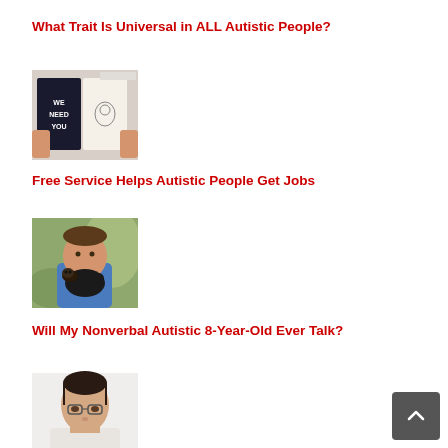What Trait Is Universal in ALL Autistic People?
[Figure (photo): Hands holding open a binder/notebook with 'WE NEED YOU' text visible on the left page and a sketch on the right page, keyboard in background]
Free Service Helps Autistic People Get Jobs
[Figure (photo): Young boy in blue shirt holding a black German Shepherd puppy, outdoor blurred background]
Will My Nonverbal Autistic 8-Year-Old Ever Talk?
[Figure (photo): Young woman with dark hair pulled back, wearing glasses, looking forward, partially cropped at bottom]